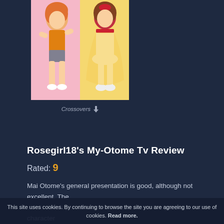[Figure (illustration): Two anime-style female characters side by side: left character in orange top and grey shorts with orange hair, right character in white dress and red accessories with brown hair]
Crossovers ↓
Rosegirl18's My-Otome Tv Review
Rated: 9
Mai Otome's general presentation is good, although not excellent. The some developements are not made. Also, the producers use character continuous comparisons and references to the two series, making the
This site uses cookies. By continuing to browse the site you are agreeing to our use of cookies. Read more.